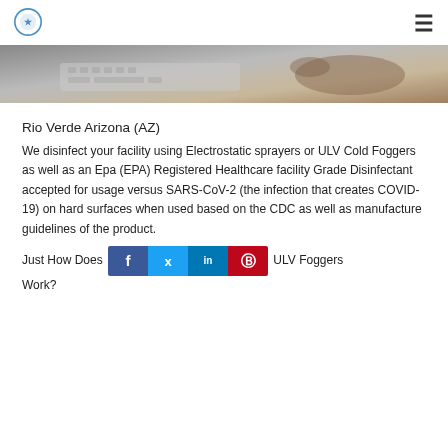[Figure (logo): Circular blue logo icon in page header]
[Figure (photo): Cropped photo showing hands on a keyboard on a desk]
Rio Verde Arizona (AZ)
We disinfect your facility using Electrostatic sprayers or ULV Cold Foggers as well as an Epa (EPA) Registered Healthcare facility Grade Disinfectant accepted for usage versus SARS-CoV-2 (the infection that creates COVID-19) on hard surfaces when used based on the CDC as well as manufacture guidelines of the product.
Just How Does ULV Foggers Work?